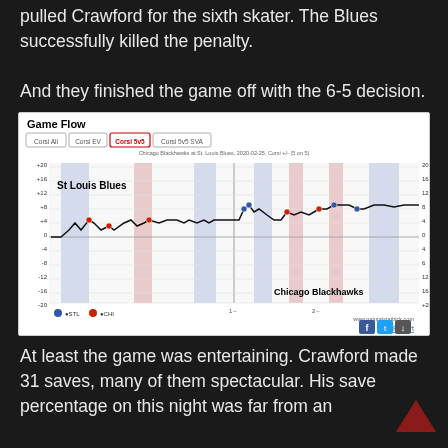pulled Crawford for the sixth skater. The Blues successfully killed the penalty.

And they finished the game off with the 6-5 decision.
[Figure (continuous-plot): Game Flow chart showing Corsi 5v5 data for Chicago Blackhawks at St. Louis Blues, 2020-02-25. The line chart shows St. Louis Blues leading (positive values) throughout most of the game. Labels include Corsi All, Corsi EV, Corsi 5v5 (highlighted in red), Corsi 5v5 SVA. Blue and red shaded vertical bars indicate power plays. St Louis Blues label in upper left, Chicago Blackhawks label in lower right. Y-axis from -20 to +20. Social share buttons and Full Report link at bottom right. Source: www.naturalstattrick.com]
At least the game was entertaining. Crawford made 31 saves, many of them spectacular. His save percentage on this night was far from an